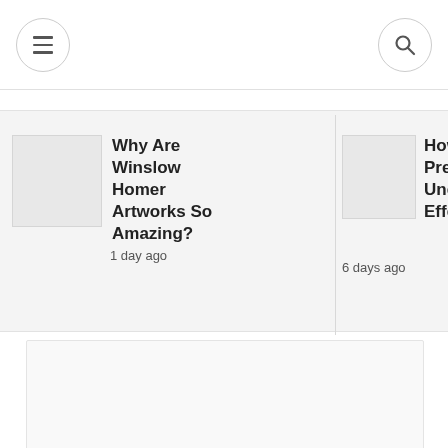Navigation bar with menu and search icons
Why Are Winslow Homer Artworks So Amazing?
1 day ago
How are Fo Preservativ Understand Effects
6 days ago
[Figure (photo): Large placeholder image area at bottom of page]